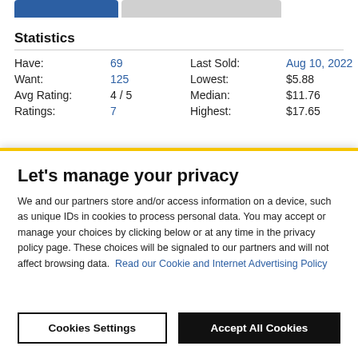Statistics
| Label | Value | Label | Value |
| --- | --- | --- | --- |
| Have: | 69 | Last Sold: | Aug 10, 2022 |
| Want: | 125 | Lowest: | $5.88 |
| Avg Rating: | 4 / 5 | Median: | $11.76 |
| Ratings: | 7 | Highest: | $17.65 |
Tracklist
Let's manage your privacy
We and our partners store and/or access information on a device, such as unique IDs in cookies to process personal data. You may accept or manage your choices by clicking below or at any time in the privacy policy page. These choices will be signaled to our partners and will not affect browsing data. Read our Cookie and Internet Advertising Policy
Cookies Settings
Accept All Cookies